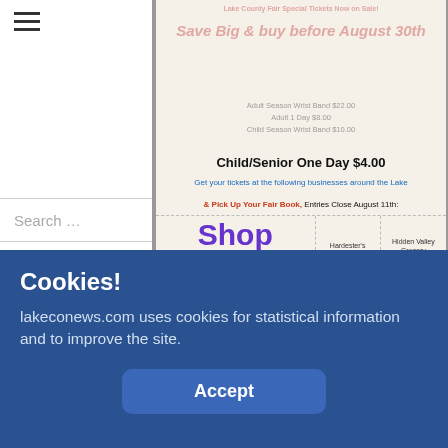[Figure (screenshot): Website header with hamburger menu icon on the left]
[Figure (infographic): Lake County Fair advertisement showing pricing: Child/Senior One Day $4.00, with 'Shop Local' grid listing businesses including Hardester's Market, Hidden Valley Grocery Outlet, Koontz Mercantile, Barreda's Lower Lake Feed, Rainbow Ag, A&H General More, Crazy Quilt Farms. Blue text: Get your tickets at the following businesses around the Lake. Red text: & Pick Up Your Fair Book, Entries Close August 11th]
Cookies!
lakeconews.com uses cookies for statistical information and to improve the site.
Accept